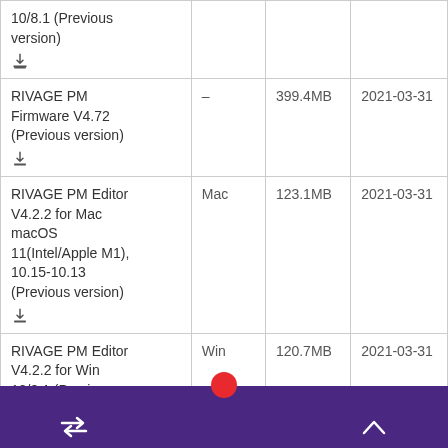| Product | Platform | Size | Date |
| --- | --- | --- | --- |
| 10/8.1 (Previous version) [download] |  |  |  |
| RIVAGE PM Firmware V4.72 (Previous version) [download] | – | 399.4MB | 2021-03-31 |
| RIVAGE PM Editor V4.2.2 for Mac macOS 11(Intel/Apple M1), 10.15-10.13 (Previous version) [download] | Mac | 123.1MB | 2021-03-31 |
| RIVAGE PM Editor V4.2.2 for Win 10/8.1 (Previous version) [download] | Win | 120.7MB | 2021-03-31 |
| RIVAGE PM... |  | 396.7MB | 2021-03-31 |